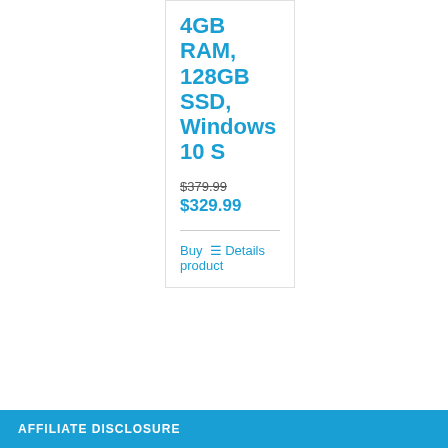4GB RAM, 128GB SSD, Windows 10 S
$379.99 (strikethrough) $329.99
Buy Details product
AFFILIATE DISCLOSURE